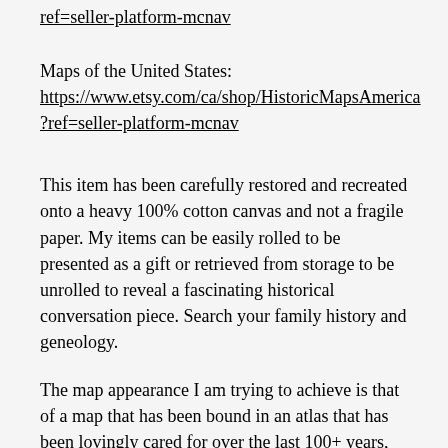ref=seller-platform-mcnav
Maps of the United States: https://www.etsy.com/ca/shop/HistoricMapsAmerica?ref=seller-platform-mcnav
This item has been carefully restored and recreated onto a heavy 100% cotton canvas and not a fragile paper. My items can be easily rolled to be presented as a gift or retrieved from storage to be unrolled to reveal a fascinating historical conversation piece. Search your family history and geneology.
The map appearance I am trying to achieve is that of a map that has been bound in an atlas that has been lovingly cared for over the last 100+ years, with the